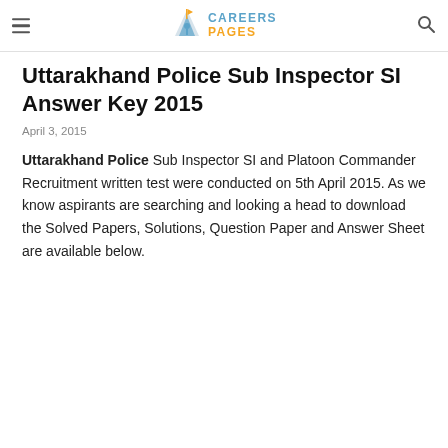CAREERS PAGES
Uttarakhand Police Sub Inspector SI Answer Key 2015
April 3, 2015
Uttarakhand Police Sub Inspector SI and Platoon Commander Recruitment written test were conducted on 5th April 2015. As we know aspirants are searching and looking a head to download the Solved Papers, Solutions, Question Paper and Answer Sheet are available below.